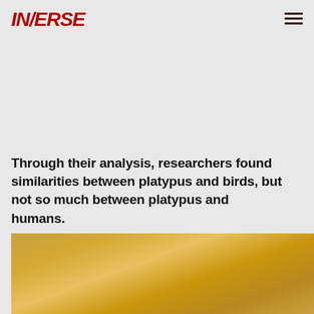INVERSE
Through their analysis, researchers found similarities between platypus and birds, but not so much between platypus and humans.
[Figure (photo): Golden/amber colored background image, likely a photo of a platypus or related natural scene with warm golden tones]